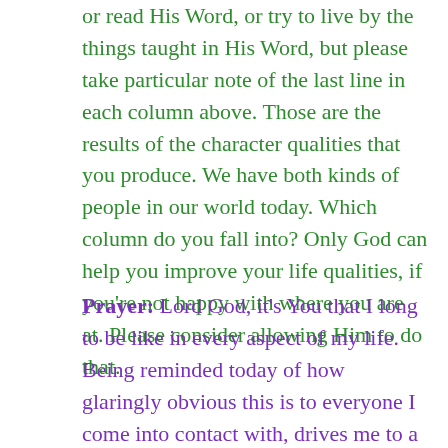or read His Word, or try to live by the things taught in His Word, but please take particular note of the last line in each column above. Those are the results of the character qualities that you produce. We have both kinds of people in our world today. Which column do you fall into? Only God can help you improve your life qualities, if you're not happy with where you are at. Please consider allowing Him to do that.
Prayer: Lord God, it's You that I long to be like in every aspect of my life. Being reminded today of how glaringly obvious this is to everyone I come into contact with, drives me to a greater determination to make sure that they only see Jesus and your rich qualities that will draw mankind to Yourself. Lord, I pray that my readers will join me in saying that this life would be meaningless if we travel